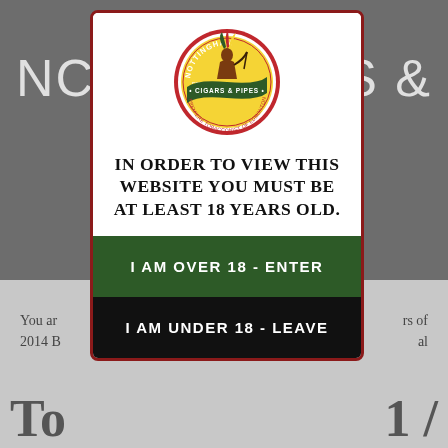[Figure (logo): Nottingham Cigars & Pipes circular logo with Native American figure, red border, green banner reading 'CIGARS & PIPES', yellow background, text 'PREMIERE TOBACCONIST OF EDMONTON']
IN ORDER TO VIEW THIS WEBSITE YOU MUST BE AT LEAST 18 YEARS OLD.
I AM OVER 18 - ENTER
I AM UNDER 18 - LEAVE